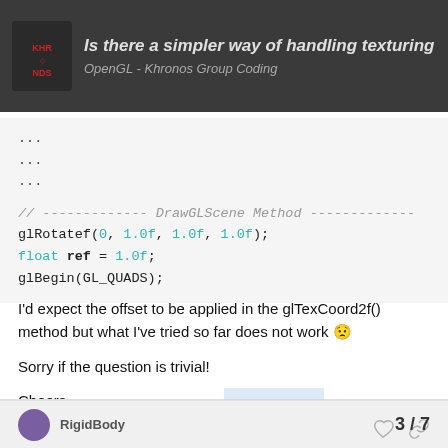Is there a simpler way of handling texturing? - OpenGL - Khronos Group Coding
...
...
...

// ------------- DrawGLScene Method -------------
glRotatef(0, 1.0f, 1.0f, 1.0f);
float ref = 1.0f;
glBegin(GL_QUADS);
I'd expect the offset to be applied in the glTexCoord2f() method but what I've tried so far does not work 😟
Sorry if the question is trivial!
Cheers
3 / 7